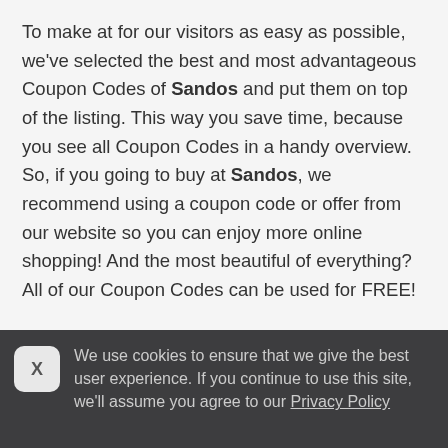To make at for our visitors as easy as possible, we've selected the best and most advantageous Coupon Codes of Sandos and put them on top of the listing. This way you save time, because you see all Coupon Codes in a handy overview. So, if you going to buy at Sandos, we recommend using a coupon code or offer from our website so you can enjoy more online shopping! And the most beautiful of everything? All of our Coupon Codes can be used for FREE!

You do not have to register for coupon codes Sandos Coupon Codes but we recommend you sign up for our newsletter. That way, you get the latest Coupon Codes,
We use cookies to ensure that we give the best user experience. If you continue to use this site, we'll assume you agree to our Privacy Policy